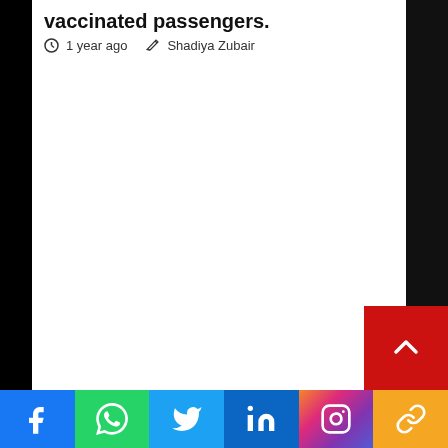vaccinated passengers.
1 year ago   Shadiya Zubair
Social share bar: Facebook, WhatsApp, Twitter, LinkedIn, Instagram, Copy link